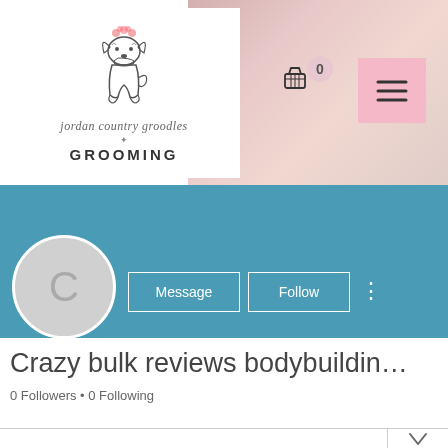[Figure (screenshot): Website screenshot showing a dog grooming business site header with logo 'jordan country groodles GROOMING', a hero photo of a woman with white dogs on a pink background, shopping cart icon with 0 badge, and pink hamburger menu button]
[Figure (screenshot): Social media profile section with teal/blue background, grey avatar circle with letter C, Message and Follow buttons, three-dot menu, profile name 'Crazy bulk reviews bodybuildin...', 0 Followers and 0 Following, and a bottom tab bar with chevron dropdown]
Crazy bulk reviews bodybuildin...
0 Followers • 0 Following